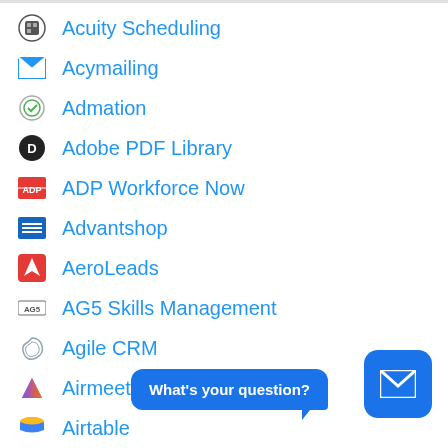Acuity Scheduling
Acymailing
Admation
Adobe PDF Library
ADP Workforce Now
Advantshop
AeroLeads
AG5 Skills Management
Agile CRM
Airmeet
Airtable
amoCRM
What's your question?